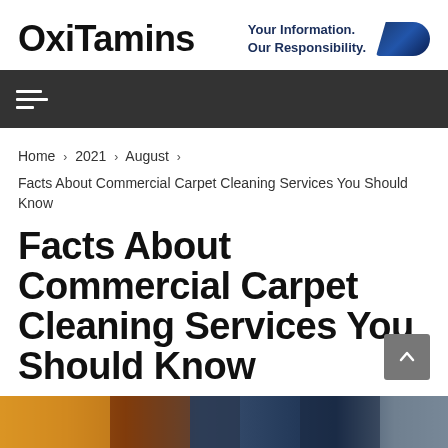OxiTamins — Your Information. Our Responsibility.
Navigation menu
Home › 2021 › August ›
Facts About Commercial Carpet Cleaning Services You Should Know
Facts About Commercial Carpet Cleaning Services You Should Know
By: Admin  On: August 28, 2021
[Figure (photo): Partial view of a carpet cleaning scene at the bottom of the page]